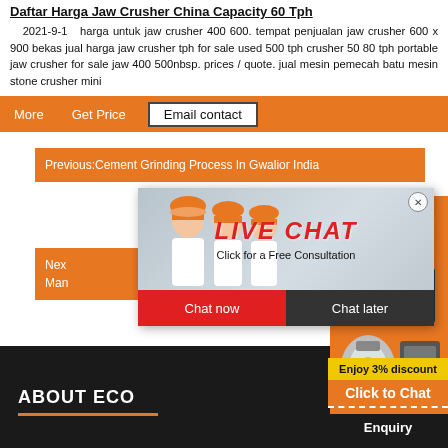Daftar Harga Jaw Crusher China Capacity 60 Tph
2021-9-1  harga untuk jaw crusher 400 600. tempat penjualan jaw crusher 600 x 900 bekas jual harga jaw crusher tph for sale used 500 tph crusher 50 80 tph portable jaw crusher for sale jaw 400 500nbsp. prices / quote. jual mesin pemecah batu mesin stone crusher mini
[Figure (screenshot): Navigation bar with orange 'More' and 'Get Price' buttons and 'Email contact' button]
[Figure (screenshot): Orange panel with Previous: Cement Grinding Process In Gwalior India text]
[Figure (screenshot): Orange panel with Next and Manufacture text]
[Figure (screenshot): Live Chat popup with workers in hard hats, LIVE CHAT title, Click for a Free Consultation, Chat now and Chat later buttons]
[Figure (photo): Orange panel with crusher machine images on right side]
Enjoy 3% discount
Click to Chat
Enquiry
ABOUT ECO